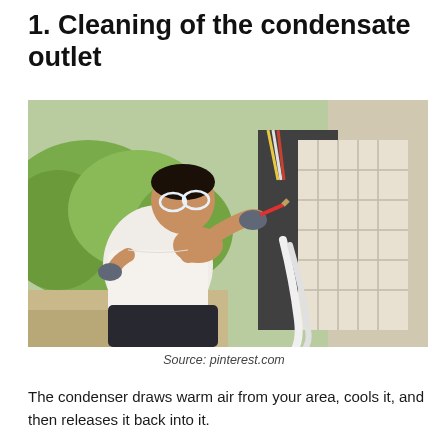1. Cleaning of the condensate outlet
[Figure (photo): A technician wearing safety glasses and gloves uses a screwdriver to work on an outdoor air conditioning condensate unit mounted on a wall. Green shrubbery is visible in the background.]
Source: pinterest.com
The condenser draws warm air from your area, cools it, and then releases it back into it.